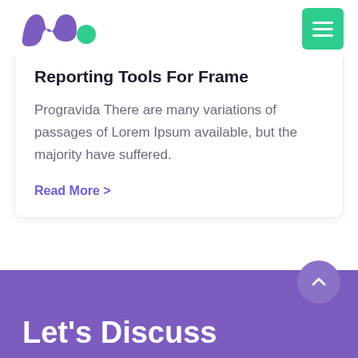[Figure (logo): Purple/violet stylized 'M' or wave logo with a green circle accent dot]
[Figure (other): Green hamburger menu button (three white horizontal lines on green rounded square)]
Reporting Tools For Frame
Progravida There are many variations of passages of Lorem Ipsum available, but the majority have suffered.
Read More >
[Figure (other): Dot pagination row: 1 green dot followed by 8 dark navy dots]
Let's Discuss
[Figure (other): Back to top arrow button - circular purple button with upward chevron]